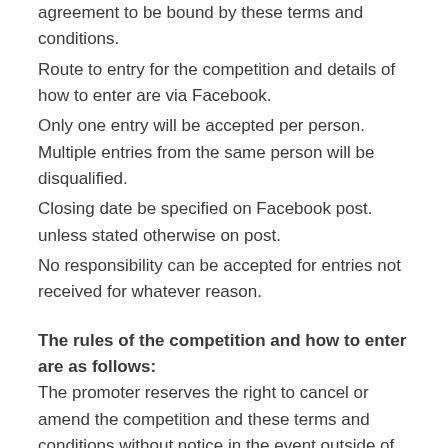agreement to be bound by these terms and conditions.
Route to entry for the competition and details of how to enter are via Facebook.
Only one entry will be accepted per person. Multiple entries from the same person will be disqualified.
Closing date be specified on Facebook post. unless stated otherwise on post.
No responsibility can be accepted for entries not received for whatever reason.
The rules of the competition and how to enter are as follows: The promoter reserves the right to cancel or amend the competition and these terms and conditions without notice in the event outside of the promoter's control. Any changes to the competition will be notified to entrants as soon as possible by the promoter.
The promoter is not responsible for inaccurate prize details supplied to any entrant by any third party connected with this competition.
The promoter is not...